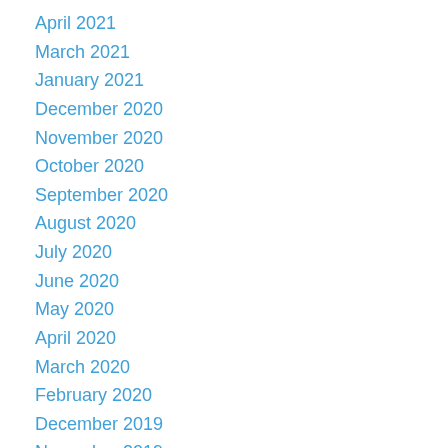April 2021
March 2021
January 2021
December 2020
November 2020
October 2020
September 2020
August 2020
July 2020
June 2020
May 2020
April 2020
March 2020
February 2020
December 2019
November 2019
October 2019
September 2019
August 2019
July 2019